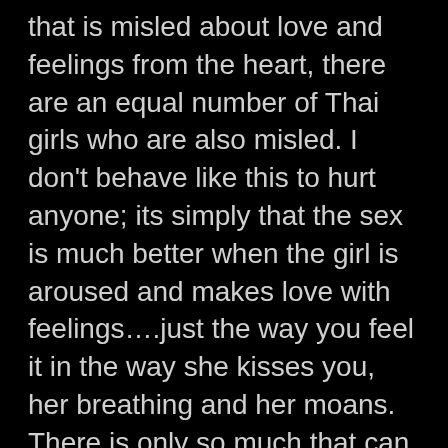that is misled about love and feelings from the heart, there are an equal number of Thai girls who are also misled. I don't behave like this to hurt anyone; its simply that the sex is much better when the girl is aroused and makes love with feelings….just the way you feel it in the way she kisses you, her breathing and her moans. There is only so much that can be acted and beyond that is real.
I am not an anomaly. I have met countless guys the same as myself in Pattaya…guys who have money, are young, fit and simply love sex with beautiful women in Pattaya. I see Pattaya changing into a more affluent city over time and I know no where else in the world where someone can play the same as in Pattaya. Las Vegas is nothing is comparison as